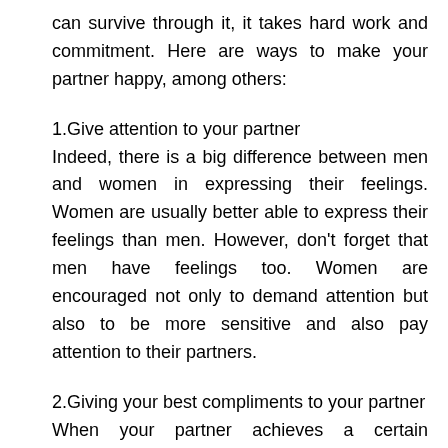can survive through it, it takes hard work and commitment. Here are ways to make your partner happy, among others:
1.Give attention to your partner
Indeed, there is a big difference between men and women in expressing their feelings. Women are usually better able to express their feelings than men. However, don't forget that men have feelings too. Women are encouraged not only to demand attention but also to be more sensitive and also pay attention to their partners.
2.Giving your best compliments to your partner
When your partner achieves a certain achievement (for example, in terms of work or